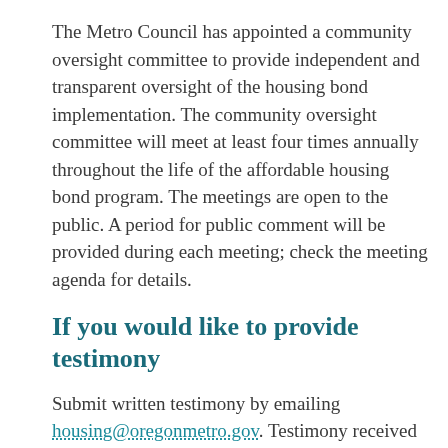The Metro Council has appointed a community oversight committee to provide independent and transparent oversight of the housing bond implementation. The community oversight committee will meet at least four times annually throughout the life of the affordable housing bond program. The meetings are open to the public. A period for public comment will be provided during each meeting; check the meeting agenda for details.
If you would like to provide testimony
Submit written testimony by emailing housing@oregonmetro.gov. Testimony received by 5 p.m. the Monday before the meeting will be shared with the committee in advance. All written testimony received will be added to the meeting record. Written testimony received after 5 p.m. on the Monday before the meeting will be distributed to committee members, but may not be reviewed in advance of the meeting.